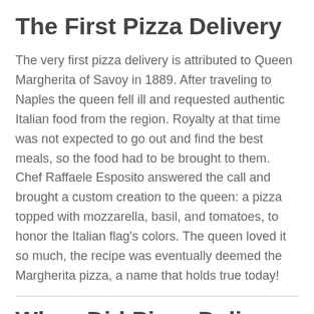The First Pizza Delivery
The very first pizza delivery is attributed to Queen Margherita of Savoy in 1889. After traveling to Naples the queen fell ill and requested authentic Italian food from the region. Royalty at that time was not expected to go out and find the best meals, so the food had to be brought to them. Chef Raffaele Esposito answered the call and brought a custom creation to the queen: a pizza topped with mozzarella, basil, and tomatoes, to honor the Italian flag's colors. The queen loved it so much, the recipe was eventually deemed the Margherita pizza, a name that holds true today!
When Did Pizza Delivery Start in the US?
Although Queen Margherita was the first one to receive a